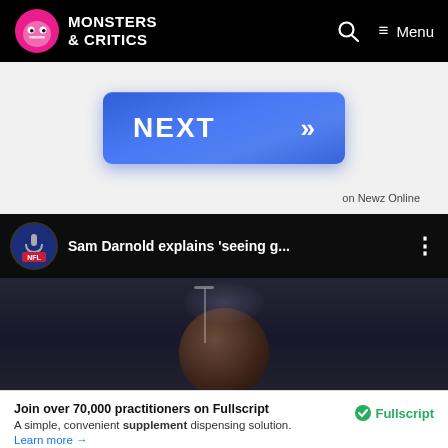Monsters & Critics — Menu
[Figure (screenshot): Blue NEXT button with double chevron >>]
on Newz Online
[Figure (screenshot): NFL YouTube video embed: Sam Darnold explains 'seeing g...']
Join over 70,000 practitioners on Fullscript A simple, convenient supplement dispensing solution. Learn more →